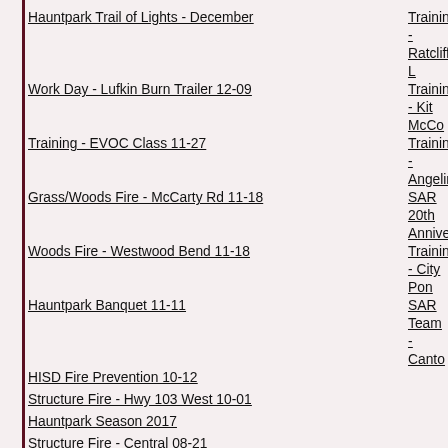Hauntpark Trail of Lights - December
Training - Ratcliff L
Work Day - Lufkin Burn Trailer  12-09
Training - Kit McCo
Training - EVOC Class  11-27
Training - Angelina
Grass/Woods Fire - McCarty Rd  11-18
SAR 20th Annivers
Woods Fire - Westwood Bend  11-18
Training - City Pon
Hauntpark Banquet  11-11
SAR Team - Canto
HISD Fire Prevention  10-12
Structure Fire - Hwy 103 West  10-01
Hauntpark Season 2017
Structure Fire - Central  08-21
HFD Family Night  07-31
Shed Fire - FM 1194 South  07-30
Training - Ladders  07-17
Training - Pump Ops  07-10
Hauntpark Car Wash Fundraiser  06-17
HFD Family Night  05-29
Training - Water Shuttle  05-15
HFD Annual Fish Fry  05-07
Training - Water Supply  04-10